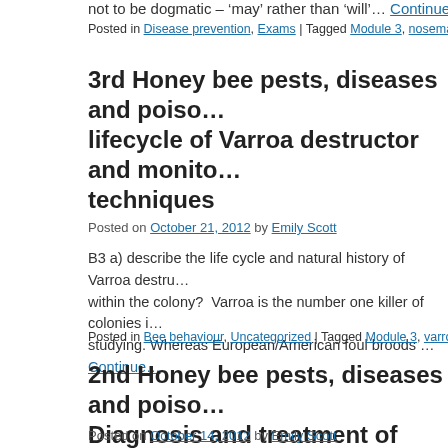not to be dogmatic – 'may' rather than 'will'… Continue reading
Posted in Disease prevention, Exams | Tagged Module 3, nosema | 16 Comm…
3rd Honey bee pests, diseases and poiso… lifecycle of Varroa destructor and monito… techniques
Posted on October 21, 2012 by Emily Scott
B3 a) describe the life cycle and natural history of Varroa destru… within the colony?  Varroa is the number one killer of colonies i… studying. Whereas European/American foul broods … Continue…
Posted in Bee behaviour, Uncategorized | Tagged Module 3, varroa | 33 Comm…
2nd Honey bee pests, diseases and poiso… Diagnosis and treatment of AFB & EFB
Posted on October 14, 2012 by Emily Scott